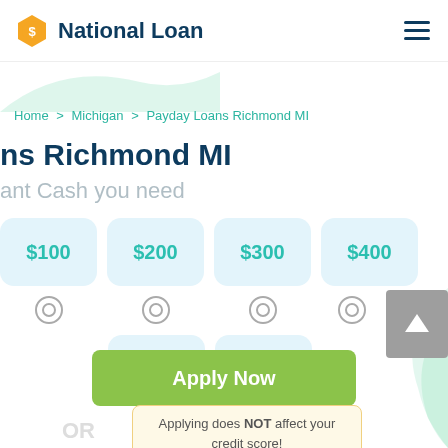[Figure (logo): National Loan logo with yellow hexagon coin icon and dark blue bold text]
Home > Michigan > Payday Loans Richmond MI
ns Richmond MI
ant Cash you need
$100
$200
$300
$400
$500
$1000
Apply Now
OR
Applying does NOT affect your credit score!
No credit check to apply.